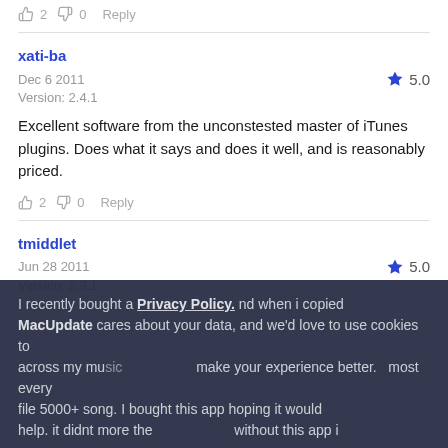👍 2 👎 0  Reply
xati-ba
Dec 6 2011   ★ 5.0
Version: 2.4.1
Excellent software from the unconstested master of iTunes plugins. Does what it says and does it well, and is reasonably priced.
👍 2 👎 0  Reply
tmiddlet
Jun 28 2011   ★ 5.0
Version: 2.3.1
I recently bought a [mac] and when i copied across my [music] ... most every file 5000+ song. I bought this app hoping it would help. it didnt more the[n] ... without this app i
Privacy Policy. MacUpdate cares about your data, and we'd love to use cookies to make your experience better. OK